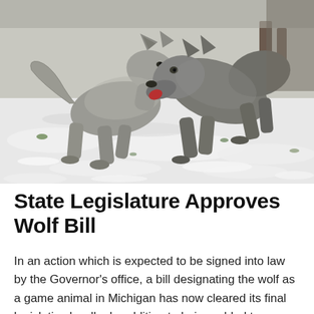[Figure (photo): Two gray wolves interacting in a snowy winter landscape, facing each other with open mouths, playing or displaying dominance behavior. Snow-covered ground with sparse green vegetation visible beneath.]
State Legislature Approves Wolf Bill
In an action which is expected to be signed into law by the Governor's office, a bill designating the wolf as a game animal in Michigan has now cleared its final legislative hurdle. In addition to being added to Michigan's list of